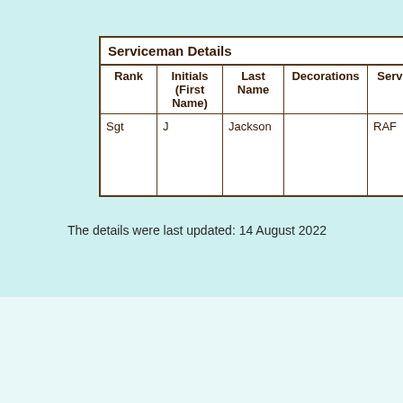| Rank | Initials (First Name) | Last Name | Decorations | Service | Serv No. |
| --- | --- | --- | --- | --- | --- |
| Sgt | J | Jackson |  | RAF | 22062... |
The details were last updated: 14 August 2022
System time, uptime, load (F): 06:53:20 up 84 days, 20:50, 0 users, load average: 0.00, 0.04, 0.20
Home | Copyright | Disclaimer | Contact